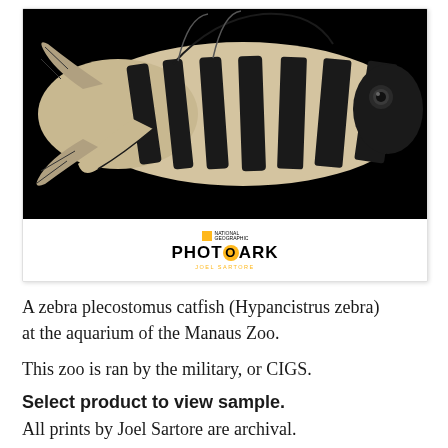[Figure (photo): A zebra plecostomus catfish with bold black and white stripes against a black background, showing the fish in profile with visible fins and eye. Below the photo is the National Geographic Photo Ark logo with a yellow square, the text PHOTO ARK with a yellow O circle, and 'JOEL SARTORE' in yellow text.]
A zebra plecostomus catfish (Hypancistrus zebra) at the aquarium of the Manaus Zoo.
This zoo is ran by the military, or CIGS.
Select product to view sample.
All prints by Joel Sartore are archival.